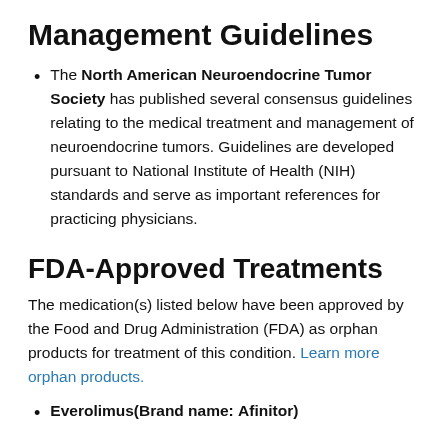Management Guidelines
The North American Neuroendocrine Tumor Society has published several consensus guidelines relating to the medical treatment and management of neuroendocrine tumors. Guidelines are developed pursuant to National Institute of Health (NIH) standards and serve as important references for practicing physicians.
FDA-Approved Treatments
The medication(s) listed below have been approved by the Food and Drug Administration (FDA) as orphan products for treatment of this condition. Learn more orphan products.
Everolimus(Brand name: Afinitor)